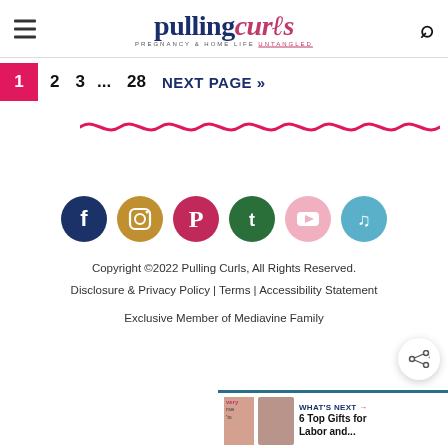Pulling Curls — Pregnancy & Home Life Untangled
1  2  3  ...  28  NEXT PAGE »
[Figure (illustration): Pink wavy squiggle decorative line]
[Figure (infographic): Social media icons: Facebook, Instagram, Pinterest, Twitter, YouTube, TikTok]
Copyright ©2022 Pulling Curls, All Rights Reserved.
Disclosure & Privacy Policy | Terms | Accessibility Statement
Exclusive Member of Mediavine Family
WHAT'S NEXT → 6 Top Gifts for Labor and...